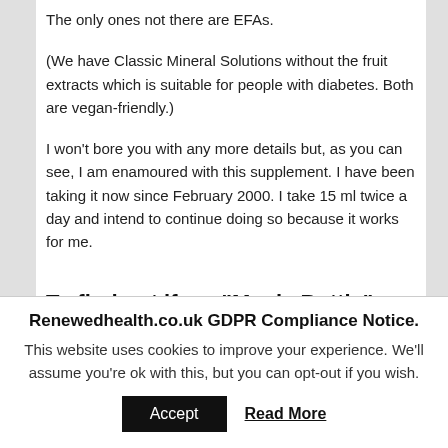The only ones not there are EFAs.
(We have Classic Mineral Solutions without the fruit extracts which is suitable for people with diabetes. Both are vegan-friendly.)
I won't bore you with any more details but, as you can see, I am enamoured with this supplement. I have been taking it now since February 2000. I take 15 ml twice a day and intend to continue doing so because it works for me.
To find out if my “Magic Bottle” works for You, try it yourself
Renewedhealth.co.uk GDPR Compliance Notice.
This website uses cookies to improve your experience. We'll assume you're ok with this, but you can opt-out if you wish.